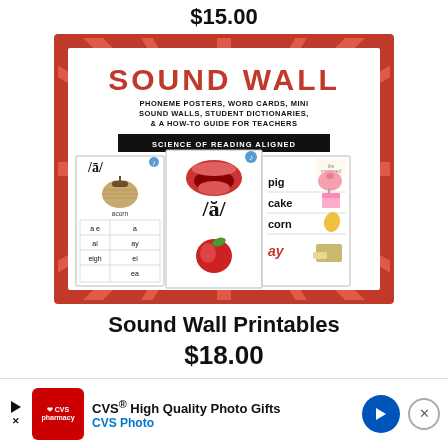$15.00
[Figure (illustration): Sound Wall educational product image. Red border with sunburst pattern. Title 'SOUND WALL' in red block letters. Subtitle: 'PHONEME POSTERS, WORD CARDS, MINI SOUND WALLS, STUDENT DICTIONARIES, & A HOW-TO GUIDE FOR TEACHERS'. Black badge: 'SCIENCE OF READING ALIGNED'. Three phonics cards shown: left card shows /ā/ with acorn image and spelling patterns (a e, a, ai, ay, eigh, ei, ea); center card shows /ă/ with mouth and apple; right card shows words: pig, cake, corn, ay with illustrations.]
Sound Wall Printables
$18.00
CVS® High Quality Photo Gifts CVS Photo